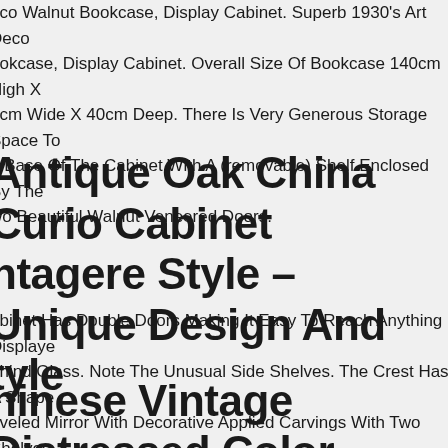eco Walnut Bookcase, Display Cabinet. Superb 1930's Art Deco ookcase, Display Cabinet. Overall Size Of Bookcase 140cm High X 0cm Wide X 40cm Deep. There Is Very Generous Storage Space To e Base Of The Cabinet With A (removable) Shelf Enclosed By The wo Beautiful Walnut Veneered Doors.
Antique Oak China Curio Cabinet ntagere Style – Unique Design And tyle
abinet Has Double Doors Making It Easy To Reach Anything Displayed ehind Glass. Note The Unusual Side Shelves. The Crest Has A Shaped eveled Mirror With Decorative Applied Carvings With Two Shelves.
Chinese Vintage Distressed Color cenery Graphic Dresser Cabinet